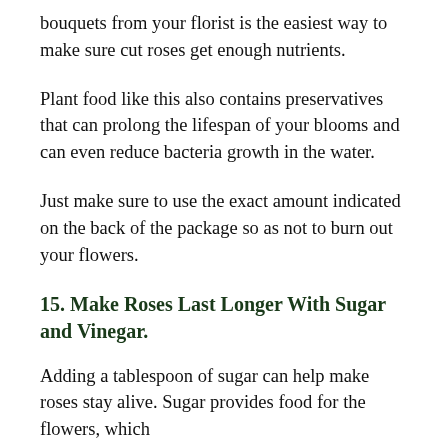bouquets from your florist is the easiest way to make sure cut roses get enough nutrients.
Plant food like this also contains preservatives that can prolong the lifespan of your blooms and can even reduce bacteria growth in the water.
Just make sure to use the exact amount indicated on the back of the package so as not to burn out your flowers.
15. Make Roses Last Longer With Sugar and Vinegar.
Adding a tablespoon of sugar can help make roses stay alive. Sugar provides food for the flowers, which